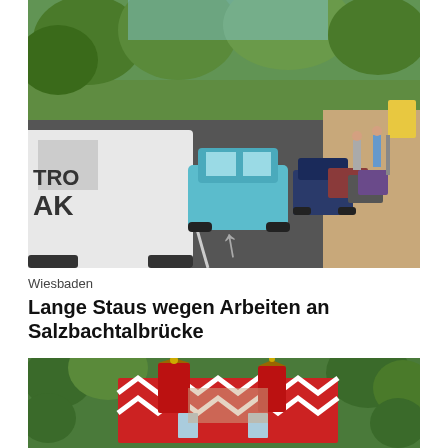[Figure (photo): Street scene with traffic jam on a tree-lined road. A white van marked 'TRO AK' is prominent on the left. A blue car and several other vehicles are backed up in traffic. Sidewalk visible on the right with pedestrians. Sunny day with leafy green trees.]
Wiesbaden
Lange Staus wegen Arbeiten an Salzbachtalbrücke
[Figure (photo): Aerial view of a ornate historic building with a red and white decorative zigzag patterned roof. The building has a tower with golden decorations. Surrounded by green trees.]